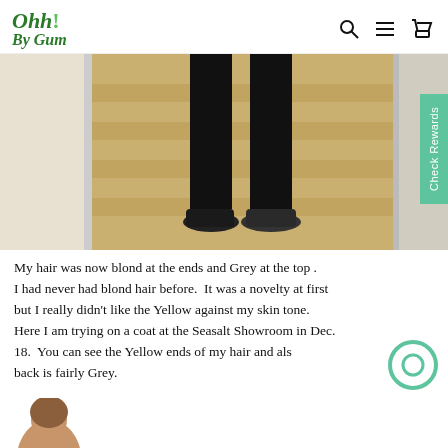Ohh! By Gum — navigation header with search, menu, and cart icons
[Figure (photo): Photo of a person's legs wearing black trousers and black lace-up shoes, standing on carpeted stairs with a beige/gold patterned stair runner, viewed from behind a door frame. A vertical 'Check Rewards' tab is visible on the right edge.]
My hair was now blond at the ends and Grey at the top . I had never had blond hair before.  It was a novelty at first but I really didn't like the Yellow against my skin tone.  Here I am trying on a coat at the Seasalt Showroom in Dec. 18.  You can see the Yellow ends of my hair and als... back is fairly Grey.
[Figure (photo): Partial photo of a person's head/hair visible at bottom of page]